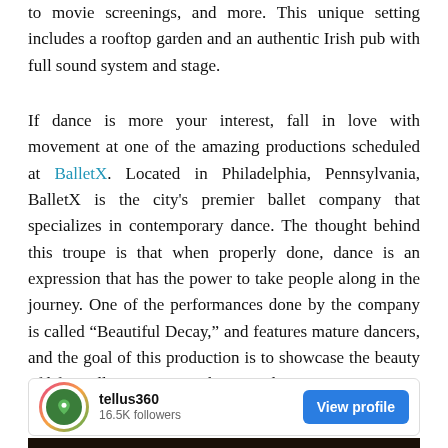to movie screenings, and more. This unique setting includes a rooftop garden and an authentic Irish pub with full sound system and stage.
If dance is more your interest, fall in love with movement at one of the amazing productions scheduled at BalletX. Located in Philadelphia, Pennsylvania, BalletX is the city's premier ballet company that specializes in contemporary dance. The thought behind this troupe is that when properly done, dance is an expression that has the power to take people along in the journey. One of the performances done by the company is called “Beautiful Decay,” and features mature dancers, and the goal of this production is to showcase the beauty of life at all stages. Not to be missed.
[Figure (screenshot): Instagram-style social profile card for 'tellus360' with 16.5K followers and a 'View profile' button, followed by a dark photo showing a building exterior with text 'ANIER's']